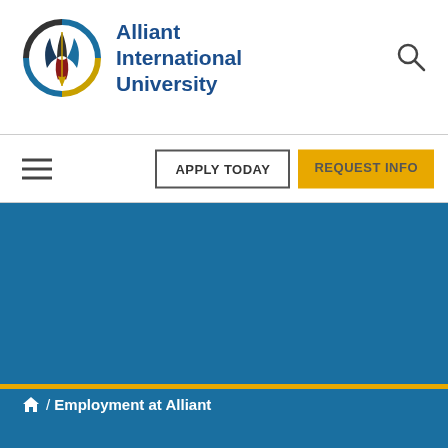Alliant International University
[Figure (logo): Alliant International University circular logo with abstract human figure design in blue, black, red, and gold colors]
APPLY TODAY
REQUEST INFO
[Figure (illustration): Blue hero banner background]
/ Employment at Alliant